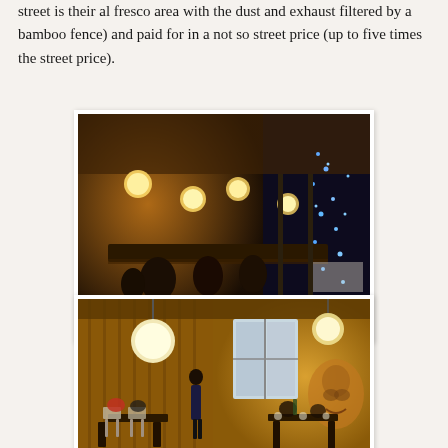street is their al fresco area with the dust and exhaust filtered by a bamboo fence) and paid for in a not so street price (up to five times the street price).
[Figure (photo): Night-time photo of an outdoor restaurant or bar area with warm orange lighting, round pendant globe lights, a long bar counter, and blue fairy lights on what appears to be a decorative tree or structure on the right side. People are seated and standing throughout the venue.]
[Figure (photo): Interior photo of a restaurant with warm yellow lighting. A person in dark clothing stands near the center. Tables and folding chairs are arranged throughout. A large mural of a face is visible on the right wall. A large round pendant light hangs from the ceiling on the left.]